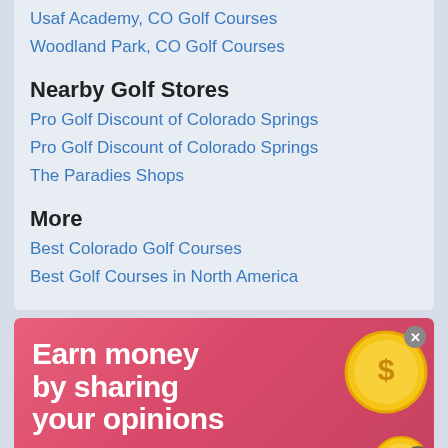Usaf Academy, CO Golf Courses
Woodland Park, CO Golf Courses
Nearby Golf Stores
Pro Golf Discount of Colorado Springs
Pro Golf Discount of Colorado Springs
The Paradies Shops
More
Best Colorado Golf Courses
Best Golf Courses in North America
[Figure (infographic): Advertisement banner: pink/red background with text 'Earn money by sharing your opinions' in large white bold font, gold coin graphics on the right, and a bottom bar with pig mascot, Mis Rewards logo, and SIGN UP button]